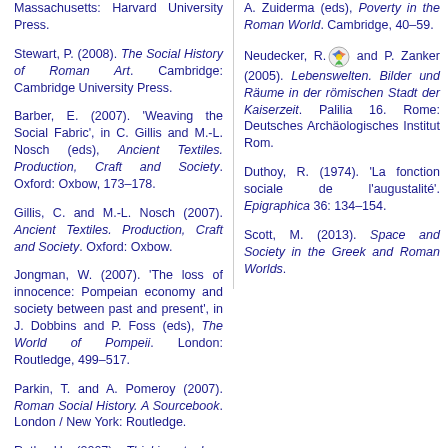Massachusetts: Harvard University Press.
Stewart, P. (2008). The Social History of Roman Art. Cambridge: Cambridge University Press.
Barber, E. (2007). 'Weaving the Social Fabric', in C. Gillis and M.-L. Nosch (eds), Ancient Textiles. Production, Craft and Society. Oxford: Oxbow, 173–178.
Gillis, C. and M.-L. Nosch (2007). Ancient Textiles. Production, Craft and Society. Oxford: Oxbow.
Jongman, W. (2007). 'The loss of innocence: Pompeian economy and society between past and present', in J. Dobbins and P. Foss (eds), The World of Pompeii. London: Routledge, 499–517.
Parkin, T. and A. Pomeroy (2007). Roman Social History. A Sourcebook. London / New York: Routledge.
Roth, U. (2007). Thinking tools : agricultural slavery between evidence and models. London: Institute of Classical Studies.
A. Zuiderma (eds), Poverty in the Roman World. Cambridge, 40–59.
Neudecker, R. and P. Zanker (2005). Lebenswelten. Bilder und Räume in der römischen Stadt der Kaiserzeit. Palilia 16. Rome: Deutsches Archäologisches Institut Rom.
Duthoy, R. (1974). 'La fonction sociale de l'augustalité'. Epigraphica 36: 134–154.
Scott, M. (2013). Space and Society in the Greek and Roman Worlds.